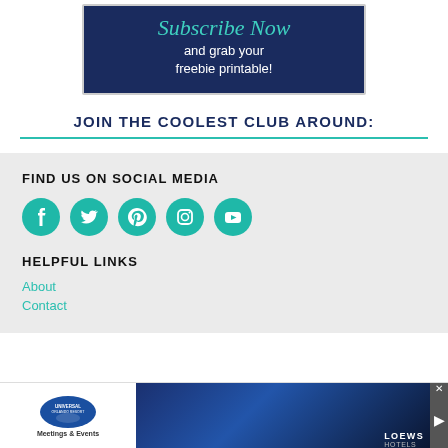[Figure (illustration): Dark navy blue banner box with cursive teal 'Subscribe Now' text and white sans-serif text 'and grab your freebie printable!']
JOIN THE COOLEST CLUB AROUND:
FIND US ON SOCIAL MEDIA
[Figure (infographic): Five teal circular social media icons: Facebook, Twitter, Pinterest, Instagram, YouTube]
HELPFUL LINKS
About
Contact
[Figure (advertisement): Universal Orlando Resort Meetings & Events advertisement with Loews Hotels branding]